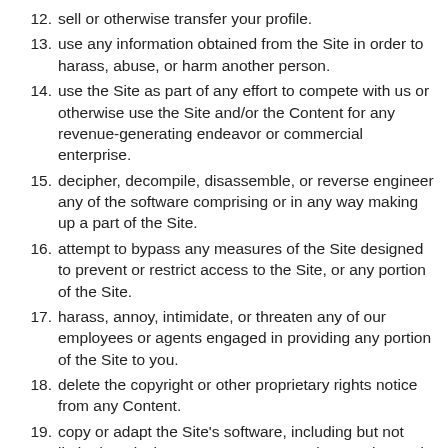12. sell or otherwise transfer your profile.
13. use any information obtained from the Site in order to harass, abuse, or harm another person.
14. use the Site as part of any effort to compete with us or otherwise use the Site and/or the Content for any revenue-generating endeavor or commercial enterprise.
15. decipher, decompile, disassemble, or reverse engineer any of the software comprising or in any way making up a part of the Site.
16. attempt to bypass any measures of the Site designed to prevent or restrict access to the Site, or any portion of the Site.
17. harass, annoy, intimidate, or threaten any of our employees or agents engaged in providing any portion of the Site to you.
18. delete the copyright or other proprietary rights notice from any Content.
19. copy or adapt the Site's software, including but not limited to Flash, PHP, HTML, JavaScript, or other code.